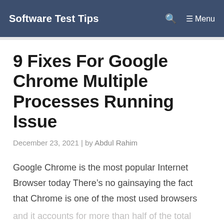Software Test Tips   Menu
9 Fixes For Google Chrome Multiple Processes Running Issue
December 23, 2021 | by Abdul Rahim
Google Chrome is the most popular Internet Browser today There’s no gainsaying the fact that Chrome is one of the most used browsers and it accounts for more than half of the total